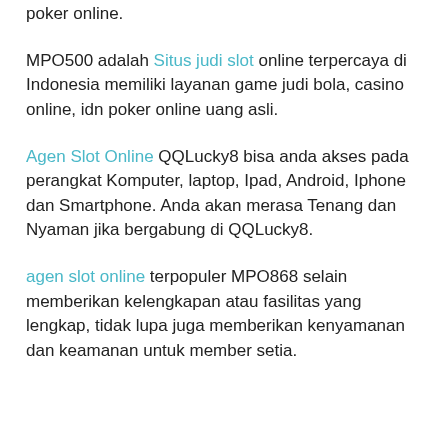poker online.
MPO500 adalah Situs judi slot online terpercaya di Indonesia memiliki layanan game judi bola, casino online, idn poker online uang asli.
Agen Slot Online QQLucky8 bisa anda akses pada perangkat Komputer, laptop, Ipad, Android, Iphone dan Smartphone. Anda akan merasa Tenang dan Nyaman jika bergabung di QQLucky8.
agen slot online terpopuler MPO868 selain memberikan kelengkapan atau fasilitas yang lengkap, tidak lupa juga memberikan kenyamanan dan keamanan untuk member setia.